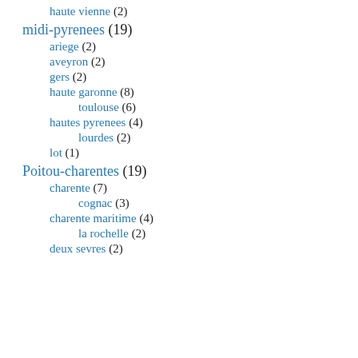haute vienne (2)
midi-pyrenees (19)
ariege (2)
aveyron (2)
gers (2)
haute garonne (8)
toulouse (6)
hautes pyrenees (4)
lourdes (2)
lot (1)
Poitou-charentes (19)
charente (7)
cognac (3)
charente maritime (4)
la rochelle (2)
deux sevres (2)